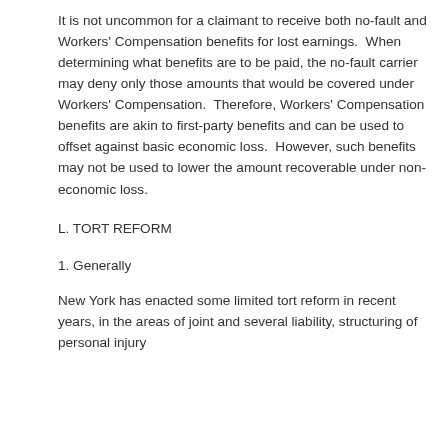It is not uncommon for a claimant to receive both no-fault and Workers' Compensation benefits for lost earnings.  When determining what benefits are to be paid, the no-fault carrier may deny only those amounts that would be covered under Workers' Compensation.  Therefore, Workers' Compensation benefits are akin to first-party benefits and can be used to offset against basic economic loss.  However, such benefits may not be used to lower the amount recoverable under non-economic loss.
L. TORT REFORM
1. Generally
New York has enacted some limited tort reform in recent years, in the areas of joint and several liability, structuring of personal injury